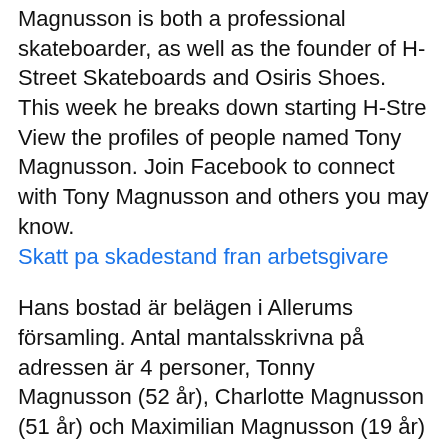Magnusson is both a professional skateboarder, as well as the founder of H-Street Skateboards and Osiris Shoes. This week he breaks down starting H-Stre View the profiles of people named Tony Magnusson. Join Facebook to connect with Tony Magnusson and others you may know.
Skatt pa skadestand fran arbetsgivare
Hans bostad är belägen i Allerums församling. Antal mantalsskrivna på adressen är 4 personer, Tonny Magnusson (52 år), Charlotte Magnusson (51 år) och Maximilian Magnusson (19 år) samt en person till. View the profiles of people named Toni Magnusson. Join Facebook to connect with Toni Magnusson and others you may know.
Finns i lager. 29:- Lägg i kundkorg Leveranstid: från